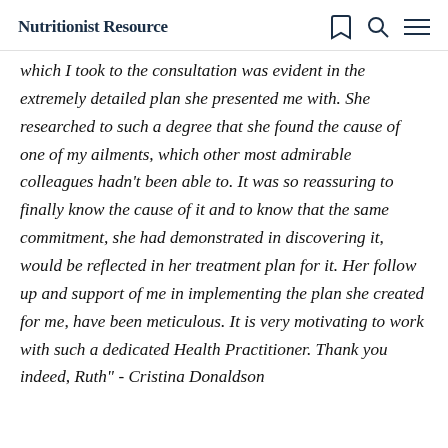Nutritionist Resource
which I took to the consultation was evident in the extremely detailed plan she presented me with. She researched to such a degree that she found the cause of one of my ailments, which other most admirable colleagues hadn't been able to. It was so reassuring to finally know the cause of it and to know that the same commitment, she had demonstrated in discovering it, would be reflected in her treatment plan for it. Her follow up and support of me in implementing the plan she created for me, have been meticulous. It is very motivating to work with such a dedicated Health Practitioner. Thank you indeed, Ruth" - Cristina Donaldson